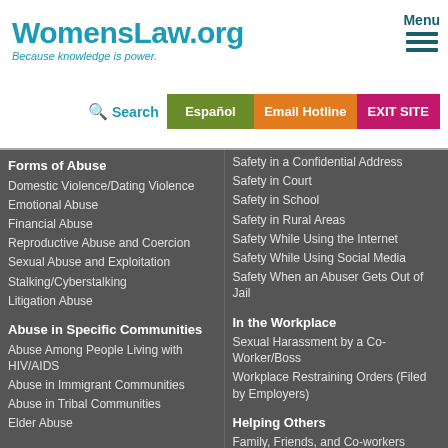WomensLaw.org
Because knowledge is power.
Menu
Search
Español
Email Hotline
EXIT SITE
Forms of Abuse
Domestic Violence/Dating Violence
Emotional Abuse
Financial Abuse
Reproductive Abuse and Coercion
Sexual Abuse and Exploitation
Stalking/Cyberstalking
Litigation Abuse
Abuse in Specific Communities
Abuse Among People Living with HIV/AIDS
Abuse in Immigrant Communities
Abuse in Tribal Communities
Elder Abuse
Safety in a Confidential Address
Safety in Court
Safety in School
Safety in Rural Areas
Safety While Using the Internet
Safety While Using Social Media
Safety When an Abuser Gets Out of Jail
In the Workplace
Sexual Harassment by a Co-Worker/Boss
Workplace Restraining Orders (Filed by Employers)
Helping Others
Family, Friends, and Co-workers
Advocates
Lawyers